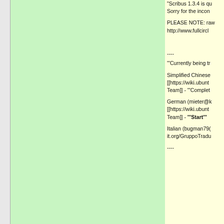[Figure (other): Green panel background occupying the left two-thirds of the page]
"Scribus 1.3.4 is qu
Sorry for the incon

PLEASE NOTE: raw
http://www.fullcircl


----
'''Currently being tr

Simplified Chinese
[[https://wiki.ubunt
Team]] - '''Complet

German (mieter@k
[[https://wiki.ubunt
Team]] - '''Start'''

Italian (bugman79(
it.org/GruppoTradu

----